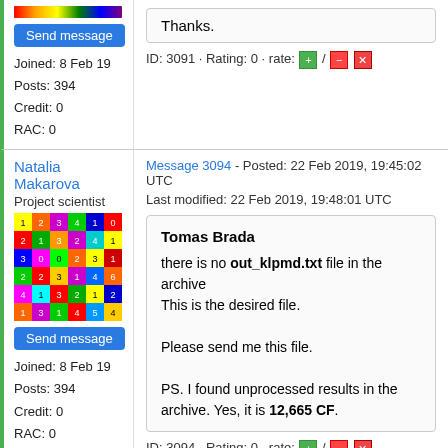Thanks.
ID: 3091 · Rating: 0 · rate: +/-/x
Natalia Makarova
Project scientist
[Figure (illustration): Colorful grid avatar with numbers 0-9 in colored cells]
Send message
Joined: 8 Feb 19
Posts: 394
Credit: 0
RAC: 0
Message 3094 - Posted: 22 Feb 2019, 19:45:02 UTC
Last modified: 22 Feb 2019, 19:48:01 UTC
Tomas Brada
there is no out_klpmd.txt file in the archive
This is the desired file.

Please send me this file.

PS. I found unprocessed results in the archive. Yes, it is 12,665 CF.
ID: 3094 · Rating: 0 · rate: +/-/x